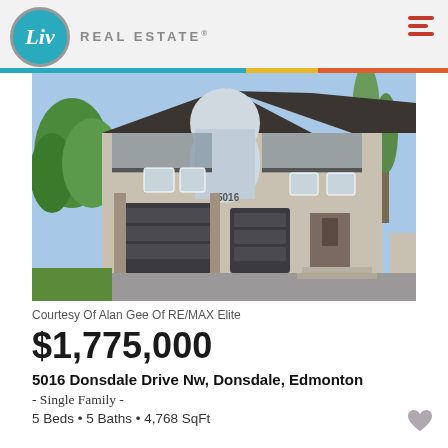Liv Real Estate
[Figure (photo): Exterior photo of a large two-storey luxury home with arched windows, double garage, glass balconies, and lush green trees, located at 5016 Donsdale Drive Nw, Edmonton]
Courtesy Of Alan Gee Of RE/MAX Elite
$1,775,000
5016 Donsdale Drive Nw, Donsdale, Edmonton
- Single Family -
5 Beds • 5 Baths • 4,768 SqFt